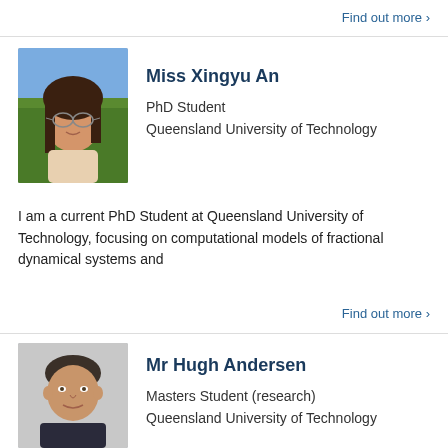Find out more ›
[Figure (photo): Profile photo of Miss Xingyu An, a young woman with glasses and long hair, outdoors with trees in background]
Miss Xingyu An
PhD Student
Queensland University of Technology
I am a current PhD Student at Queensland University of Technology, focusing on computational models of fractional dynamical systems and
Find out more ›
[Figure (photo): Profile photo of Mr Hugh Andersen, a man with short dark hair, wearing a dark shirt, light background]
Mr Hugh Andersen
Masters Student (research)
Queensland University of Technology